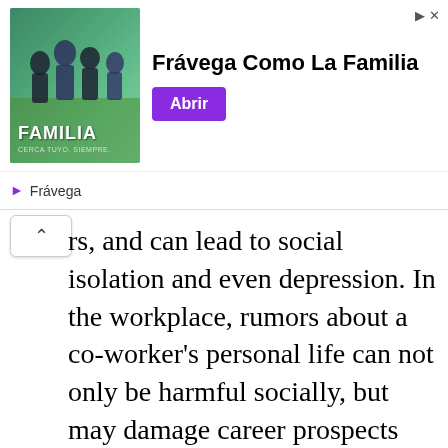[Figure (screenshot): Advertisement banner for Frávega showing a group of people playing sports with text 'Frávega Como La Familia' and a purple 'Abrir' button, with Frávega brand name below]
rs, and can lead to social isolation and even depression. In the workplace, rumors about a co-worker's personal life can not only be harmful socially, but may damage career prospects within the industry.